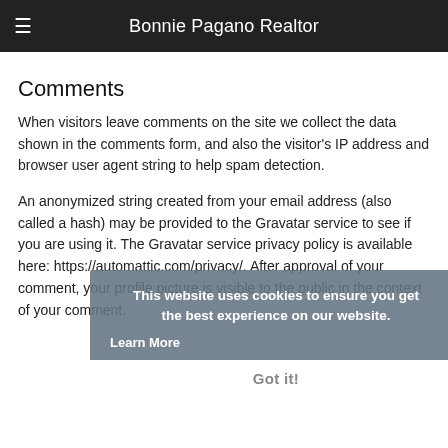Bonnie Pagano Realtor
Comments
When visitors leave comments on the site we collect the data shown in the comments form, and also the visitor's IP address and browser user agent string to help spam detection.
An anonymized string created from your email address (also called a hash) may be provided to the Gravatar service to see if you are using it. The Gravatar service privacy policy is available here: https://automattic.com/privacy/. After approval of your comment, your profile picture is visible to the public in the context of your comment.
This website uses cookies to ensure you get the best experience on our website.
Learn More
Got it!
Media